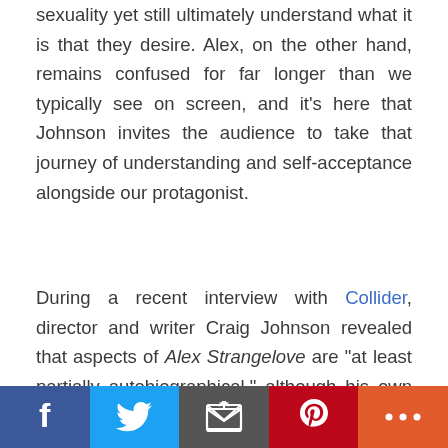sexuality yet still ultimately understand what it is that they desire. Alex, on the other hand, remains confused for far longer than we typically see on screen, and it's here that Johnson invites the audience to take that journey of understanding and self-acceptance alongside our protagonist.
During a recent interview with Collider, director and writer Craig Johnson revealed that aspects of Alex Strangelove are "at least partially autobiographical," although his own coming out
[Figure (infographic): Social media share bar with Facebook (blue), Twitter (light blue), Email (dark grey), Pinterest (red), and More/plus (orange-red) buttons]